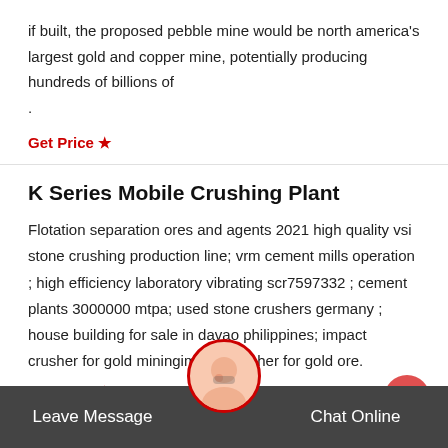if built, the proposed pebble mine would be north america's largest gold and copper mine, potentially producing hundreds of billions of .
Get Price ★
K Series Mobile Crushing Plant
Flotation separation ores and agents 2021 high quality vsi stone crushing production line; vrm cement mills operation ; high efficiency laboratory vibrating scr7597332 ; cement plants 3000000 mtpa; used stone crushers germany ; house building for sale in davao philippines; impact crusher for gold miningimpact crusher for gold ore.
Get Price ★
Leave Message   Chat Online